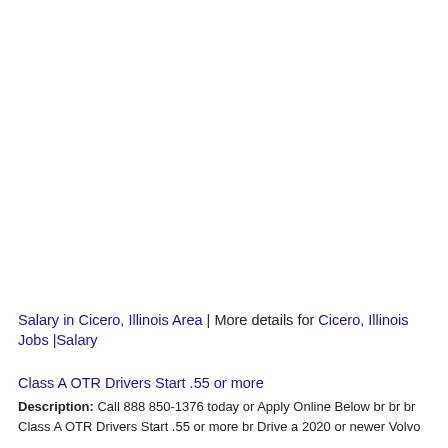Salary in Cicero, Illinois Area | More details for Cicero, Illinois Jobs |Salary
Class A OTR Drivers Start .55 or more
Description: Call 888 850-1376 today or Apply Online Below br br br Class A OTR Drivers Start .55 or more br Drive a 2020 or newer Volvo FH...